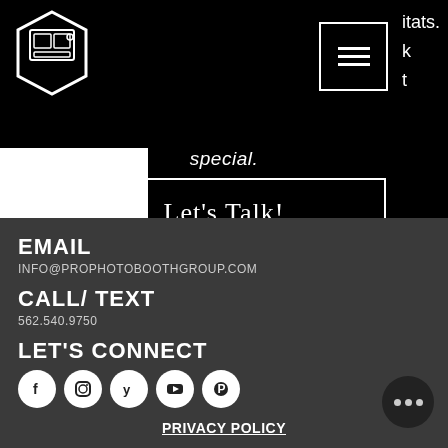[Figure (logo): Hexagonal photo booth logo in white outline on black background]
[Figure (other): Hamburger menu icon in white border box]
itats.
k
t
special.
Let's Talk!
EMAIL
INFO@PROPHOTOBOOTHGROUP.COM
CALL/ TEXT
562.540.9750
LET'S CONNECT
[Figure (other): Social media icons: Facebook, Instagram, Yelp, YouTube, Pinterest]
PRIVACY POLICY
© 2019 by Jade&Andy.
Proudly created with
Wix.com